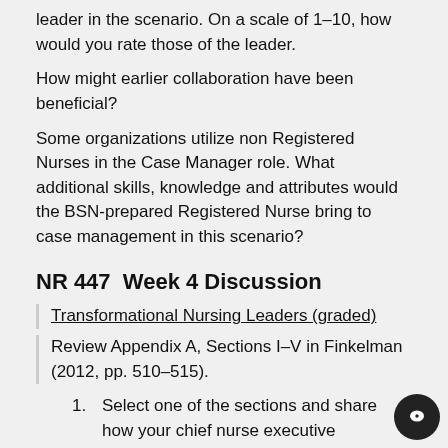leader in the scenario. On a scale of 1–10, how would you rate those of the leader.
How might earlier collaboration have been beneficial?
Some organizations utilize non Registered Nurses in the Case Manager role. What additional skills, knowledge and attributes would the BSN-prepared Registered Nurse bring to case management in this scenario?
NR 447  Week 4 Discussion
Transformational Nursing Leaders (graded)
Review Appendix A, Sections I–V in Finkelman (2012, pp. 510–515).
Select one of the sections and share how your chief nurse executive demonstrates expertise in these competencies. Your comments should be about the